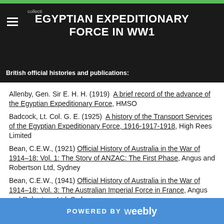EGYPTIAN EXPEDITIONARY FORCE IN WW1
British official histories and publications:
Allenby, Gen. Sir E. H. H. (1919)  A brief record of the advance of the Egyptian Expeditionary Force, HMSO
Badcock, Lt. Col. G. E. (1925)  A history of the Transport Services of the Egyptian Expeditionary Force, 1916-1917-1918, High Rees Limited
Bean, C.E.W., (1921) Official History of Australia in the War of 1914–18: Vol. 1: The Story of ANZAC: The First Phase, Angus and Robertson Ltd, Sydney
Bean, C.E.W., (1941) Official History of Australia in the War of 1914–18: Vol. 3: The Australian Imperial Force in France, Angus and Robertson Ltd, Sydney
Butler, Col. A. G. DSO (1930)  The Australian Army Medical
POWERED BY weebly